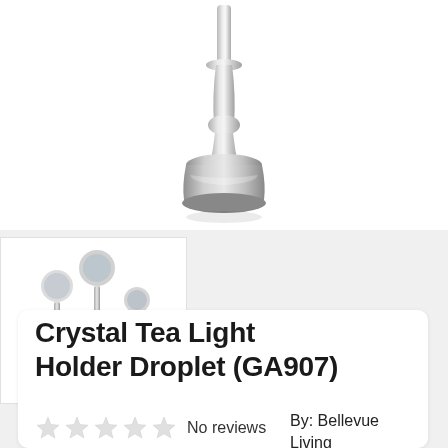[Figure (photo): Close-up of a silver metallic candlestick/tea light holder stem and base, showing the bottom portion of the holder on a white background]
[Figure (photo): Thumbnail image showing three crystal tea light holders of varying heights with silver stems on a white background]
Crystal Tea Light Holder Droplet (GA907)
No reviews
By: Bellevue Living